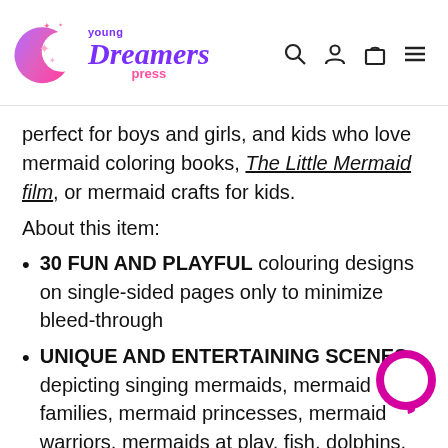[Figure (logo): Young Dreamers Press logo with purple moon and stars icon, purple cursive Dreamers text, pink Press text, and navigation icons (search, account, cart, menu)]
perfect for boys and girls, and kids who love mermaid coloring books, The Little Mermaid film, or mermaid crafts for kids.
About this item:
30 FUN AND PLAYFUL colouring designs on single-sided pages only to minimize bleed-through
UNIQUE AND ENTERTAINING SCENES depicting singing mermaids, mermaid families, mermaid princesses, mermaid warriors, mermaids at play, fish, dolphins, crabs, turtles, and other marine animals,
[Figure (illustration): Pink/magenta circular chat bubble icon in bottom right corner]